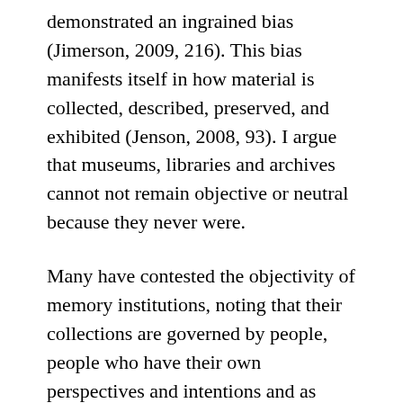demonstrated an ingrained bias (Jimerson, 2009, 216). This bias manifests itself in how material is collected, described, preserved, and exhibited (Jenson, 2008, 93). I argue that museums, libraries and archives cannot not remain objective or neutral because they never were.
Many have contested the objectivity of memory institutions, noting that their collections are governed by people, people who have their own perspectives and intentions and as such are not impartial agents (Jimerson, 2009, 215; Durrani & Smallwood, 2008, 123). Their perspectives are influenced by their epistemology (Kwaymullina, 2016, 439). This